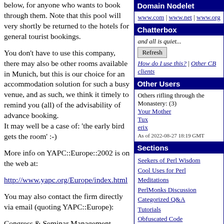below, for anyone who wants to book through them. Note that this pool will very shortly be returned to the hotels for general tourist bookings.
You don't have to use this company, there may also be other rooms available in Munich, but this is our choice for an accommodation solution for such a busy venue, and as such, we think it timely to remind you (all) of the advisability of advance booking.
It may well be a case of: 'the early bird gets the room' :-)
More info on YAPC::Europe::2002 is on the web at:
http://www.yapc.org/Europe/index.html
You may also contact the firm directly via email (quoting YAPC::Europe):
Congress & Seminar Management
info@csm-congress.de
Domain Nodelet
www.com | www.net | www.org
Chatterbox
and all is quiet...
Refresh
How do I use this? | Other CB clients
Other Users
Others rifling through the Monastery: (3)
Your Mother
Tux
erix
As of 2022-08-27 18:19 GMT
Sections
Seekers of Perl Wisdom
Cool Uses for Perl
Meditations
PerlMonks Discussion
Categorized Q&A
Tutorials
Obfuscated Code
Perl Poetry
Perl News
about
Information